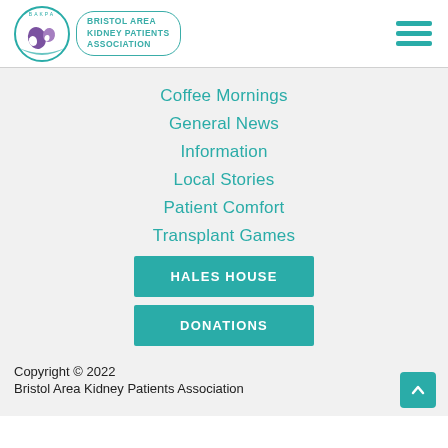Bristol Area Kidney Patients Association
Coffee Mornings
General News
Information
Local Stories
Patient Comfort
Transplant Games
HALES HOUSE
DONATIONS
Copyright © 2022
Bristol Area Kidney Patients Association